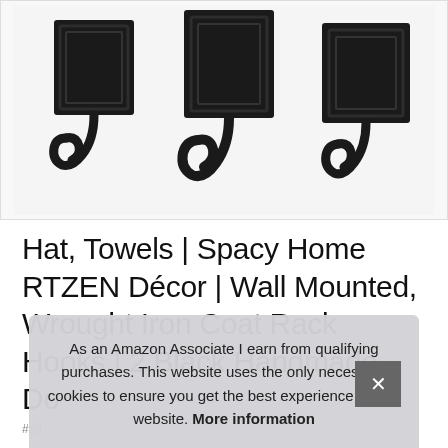[Figure (photo): Three black wrought iron wall-mounted coat hooks with decorative square backplates, arranged in a row against a white background.]
Hat, Towels | Spacy Home RTZEN Décor | Wall Mounted, Wrought Iron Coat Rack Hooks | 2 Black Handmade Do
#ad
As an Amazon Associate I earn from qualifying purchases. This website uses the only necessary cookies to ensure you get the best experience on our website. More information